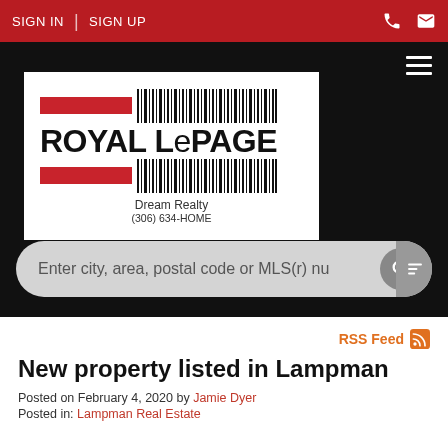SIGN IN | SIGN UP
[Figure (logo): Royal LePage Dream Realty logo with red bars and barcode graphic, phone number (306) 634-HOME]
Enter city, area, postal code or MLS(r) nu
RSS Feed
New property listed in Lampman
Posted on February 4, 2020 by Jamie Dyer
Posted in: Lampman Real Estate